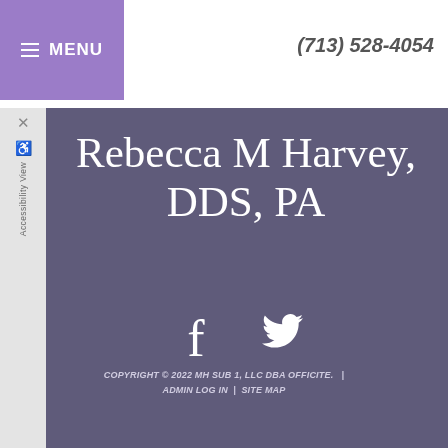MENU  (713) 528-4054
Rebecca M Harvey, DDS, PA
[Figure (logo): Facebook and Twitter social media icons in white on dark purple background]
COPYRIGHT © 2022 MH SUB 1, LLC DBA OFFICITE.  |  ADMIN LOG IN  |  SITE MAP